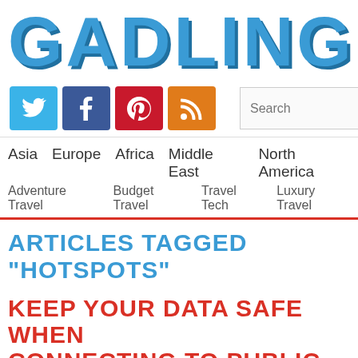GADLING
[Figure (logo): Social media icons: Twitter (blue), Facebook (dark blue), Pinterest (red), RSS (orange)]
Asia  Europe  Africa  Middle East  North America
Adventure Travel  Budget Travel  Travel Tech  Luxury Travel
ARTICLES TAGGED "HOTSPOTS"
KEEP YOUR DATA SAFE WHEN CONNECTING TO PUBLIC WIRELESS